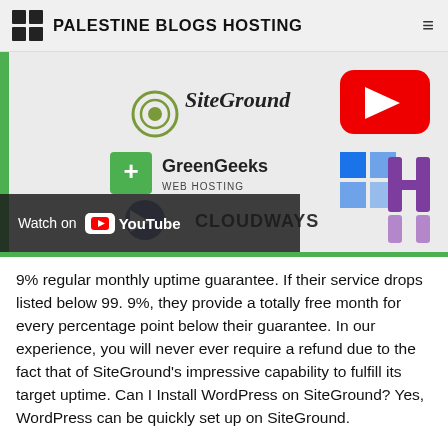PALESTINE BLOGS HOSTING
[Figure (screenshot): YouTube video thumbnail showing web hosting logos: SiteGround, GreenGeeks Web Hosting, Cloudways, and other provider logos on a white background with a YouTube play button overlay.]
9% regular monthly uptime guarantee. If their service drops listed below 99. 9%, they provide a totally free month for every percentage point below their guarantee. In our experience, you will never ever require a refund due to the fact that of SiteGround's impressive capability to fulfill its target uptime. Can I Install WordPress on SiteGround? Yes, WordPress can be quickly set up on SiteGround.